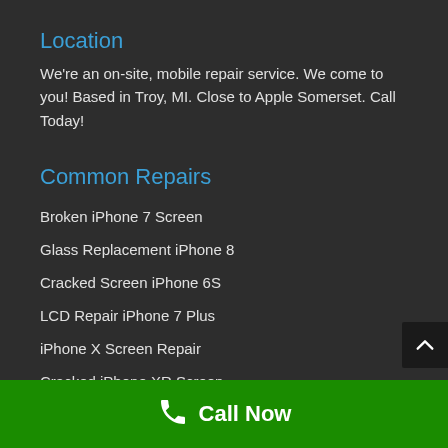Location
We're an on-site, mobile repair service. We come to you! Based in Troy, MI. Close to Apple Somerset. Call Today!
Common Repairs
Broken iPhone 7 Screen
Glass Replacement iPhone 8
Cracked Screen iPhone 6S
LCD Repair iPhone 7 Plus
iPhone X Screen Repair
Cracked iPhone XR Screen
iPhone 6 Cracked Screen
iPhone 8 Plus Repair
Call Now